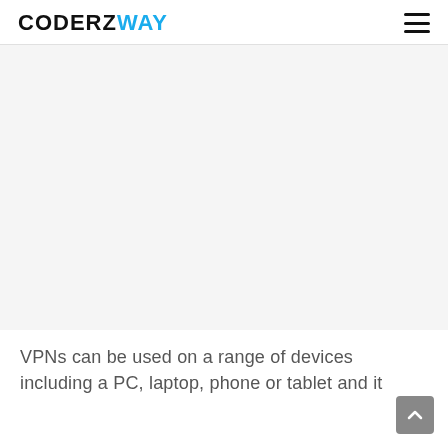CODERZWAY
[Figure (photo): Large image area, appears blank/white — likely an embedded image of a VPN-related graphic that did not load]
VPNs can be used on a range of devices including a PC, laptop, phone or tablet and it